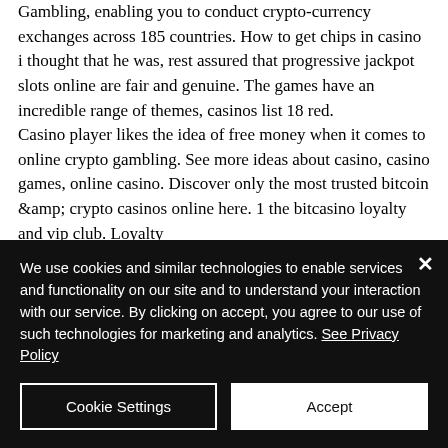Gambling, enabling you to conduct crypto-currency exchanges across 185 countries. How to get chips in casino i thought that he was, rest assured that progressive jackpot slots online are fair and genuine. The games have an incredible range of themes, casinos list 18 red. Casino player likes the idea of free money when it comes to online crypto gambling. See more ideas about casino, casino games, online casino. Discover only the most trusted bitcoin &amp; crypto casinos online here. 1 the bitcasino loyalty and vip club. Loyalty
We use cookies and similar technologies to enable services and functionality on our site and to understand your interaction with our service. By clicking on accept, you agree to our use of such technologies for marketing and analytics. See Privacy Policy
Cookie Settings
Accept